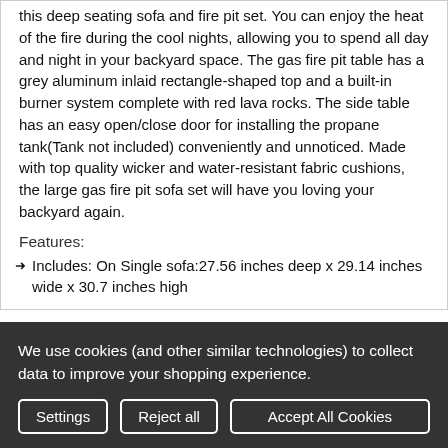this deep seating sofa and fire pit set. You can enjoy the heat of the fire during the cool nights, allowing you to spend all day and night in your backyard space. The gas fire pit table has a grey aluminum inlaid rectangle-shaped top and a built-in burner system complete with red lava rocks. The side table has an easy open/close door for installing the propane tank(Tank not included) conveniently and unnoticed. Made with top quality wicker and water-resistant fabric cushions, the large gas fire pit sofa set will have you loving your backyard again.
Features:
Includes: On Single sofa:27.56 inches deep x 29.14 inches wide x 30.7 inches high
Side table:15.74 inches deep x 15.74 inches wide x 19.7
We use cookies (and other similar technologies) to collect data to improve your shopping experience.